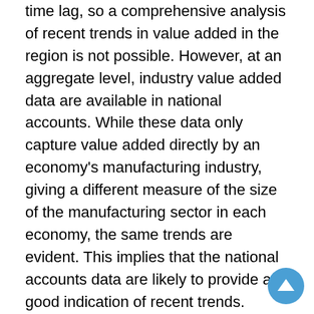time lag, so a comprehensive analysis of recent trends in value added in the region is not possible. However, at an aggregate level, industry value added data are available in national accounts. While these data only capture value added directly by an economy's manufacturing industry, giving a different measure of the size of the manufacturing sector in each economy, the same trends are evident. This implies that the national accounts data are likely to provide a good indication of recent trends.
National accounts data show that the same trends described above have continued since the mid 2000s. In particular, China's share of manufacturing value added in the region has continued to increase, and this has been largely due to strong growth in China and no growth in Japan (Graph 5). Manufacturing value added in other economies in the region has also grown, but